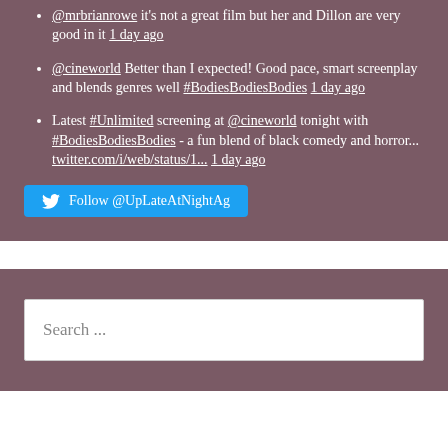@mrbrianrowe it's not a great film but her and Dillon are very good in it 1 day ago
@cineworld Better than I expected! Good pace, smart screenplay and blends genres well #BodiesBodiesBodies 1 day ago
Latest #Unlimited screening at @cineworld tonight with #BodiesBodiesBodies - a fun blend of black comedy and horror... twitter.com/i/web/status/1... 1 day ago
Follow @UpLateAtNightAg
Search ...